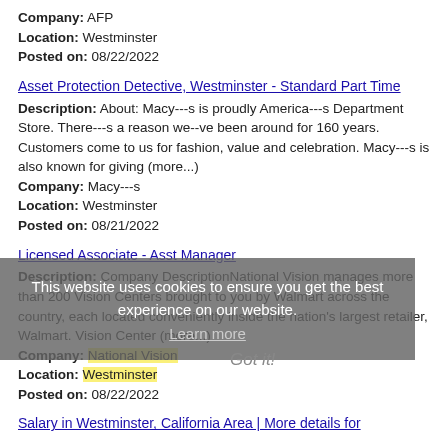Company: AFP
Location: Westminster
Posted on: 08/22/2022
Asset Protection Detective, Westminster - Standard Part Time
Description: About: Macy---s is proudly America---s Department Store. There---s a reason we--ve been around for 160 years. Customers come to us for fashion, value and celebration. Macy---s is also known for giving (more...)
Company: Macy---s
Location: Westminster
Posted on: 08/21/2022
Licensed Associate - Asst Manager
Description: Company DescriptionNational Vision manages more than 200 Vision Centers brought to you by Walmart across the country, each located conveniently inside the nation's largest retailer, Walmart. Vision Center (more...)
Company: National Vision
Location: Westminster
Posted on: 08/22/2022
Salary in Westminster, California Area | More details for